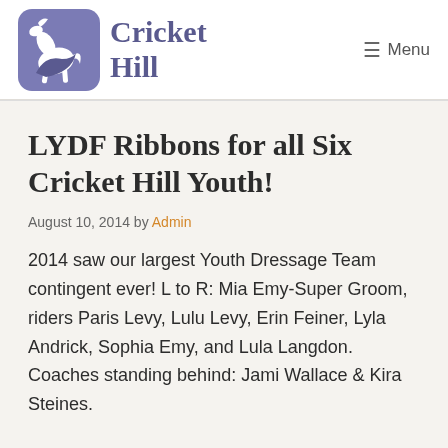Cricket Hill — Menu
LYDF Ribbons for all Six Cricket Hill Youth!
August 10, 2014 by Admin
2014 saw our largest Youth Dressage Team contingent ever! L to R: Mia Emy-Super Groom, riders Paris Levy, Lulu Levy, Erin Feiner, Lyla Andrick, Sophia Emy, and Lula Langdon. Coaches standing behind: Jami Wallace & Kira Steines.